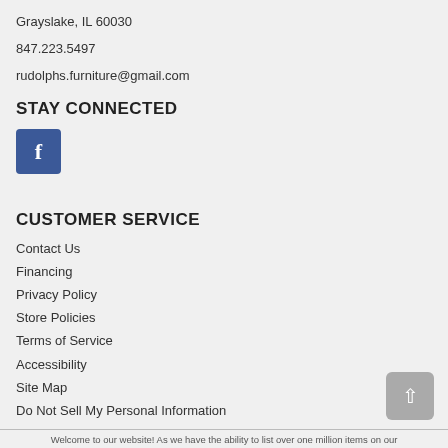Grayslake, IL 60030
847.223.5497
rudolphs.furniture@gmail.com
STAY CONNECTED
[Figure (logo): Facebook icon button — blue rounded square with white 'f' letter]
CUSTOMER SERVICE
Contact Us
Financing
Privacy Policy
Store Policies
Terms of Service
Accessibility
Site Map
Do Not Sell My Personal Information
Welcome to our website! As we have the ability to list over one million items on our